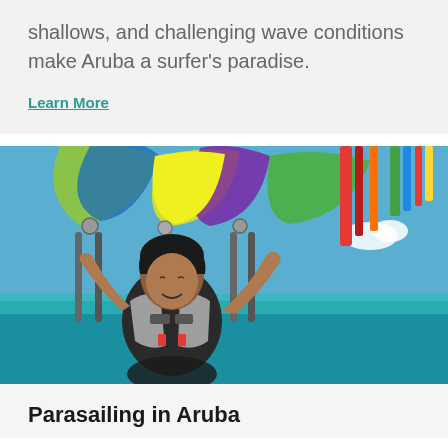shallows, and challenging wave conditions make Aruba a surfer's paradise.
Learn More
[Figure (photo): Woman parasailing above turquoise ocean water, holding onto harness straps connected to a colorful green, yellow, purple and blue parachute above, wearing a black life vest, smiling with eyes closed, blue sky in background.]
Parasailing in Aruba